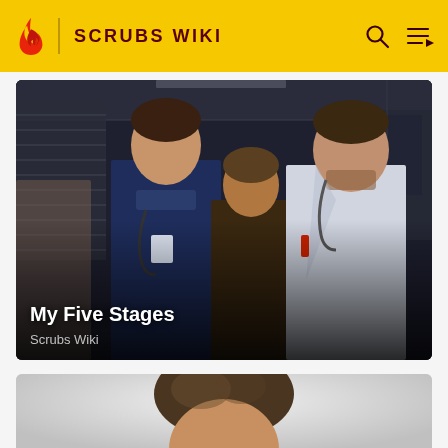SCRUBS WIKI
[Figure (screenshot): Three men standing in a hospital corridor. Left: young man in dark blue scrubs with stethoscope and badge. Center: older man in dark jacket. Right: man in white doctor's coat with stethoscope. Dark overlay at bottom with text overlay.]
My Five Stages
Scrubs Wiki
[Figure (photo): Partial view of a person's head/hair against a light gray gradient background, cut off at bottom of page.]